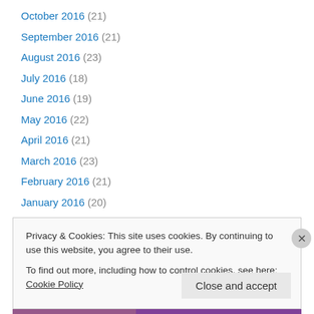October 2016 (21)
September 2016 (21)
August 2016 (23)
July 2016 (18)
June 2016 (19)
May 2016 (22)
April 2016 (21)
March 2016 (23)
February 2016 (21)
January 2016 (20)
December 2015 (22)
November 2015 (20)
October 2015 (22)
Privacy & Cookies: This site uses cookies. By continuing to use this website, you agree to their use. To find out more, including how to control cookies, see here: Cookie Policy
[Figure (other): WooCommerce banner advertisement: Turn your hobby into a business in 8 steps]